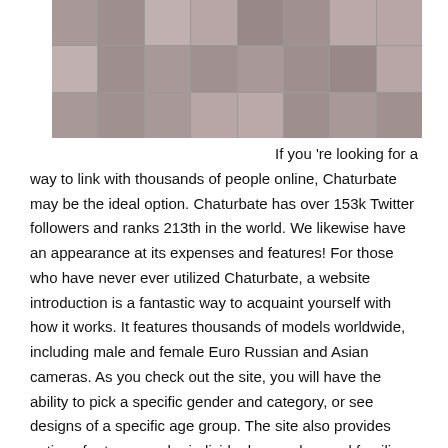[Figure (screenshot): Grid of thumbnail images from a webcam/streaming website, showing multiple rows of small preview photos]
If you 're looking for a way to link with thousands of people online, Chaturbate may be the ideal option. Chaturbate has over 153k Twitter followers and ranks 213th in the world. We likewise have an appearance at its expenses and features! For those who have never ever utilized Chaturbate, a website introduction is a fantastic way to acquaint yourself with how it works. It features thousands of models worldwide, including male and female Euro Russian and Asian cameras. As you check out the site, you will have the ability to pick a specific gender and category, or see designs of a specific age group. The site also provides options for transgender individuals, couples, and families.
How To See What Rooms You Were Recently In On Chaturbate